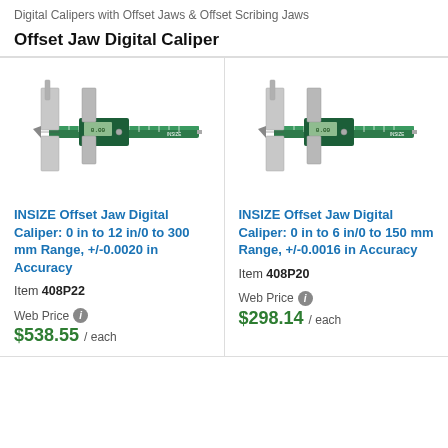Digital Calipers with Offset Jaws & Offset Scribing Jaws
Offset Jaw Digital Caliper
[Figure (illustration): INSIZE Offset Jaw Digital Caliper instrument, green and silver, with offset jaws visible]
INSIZE Offset Jaw Digital Caliper: 0 in to 12 in/0 to 300 mm Range, +/-0.0020 in Accuracy
Item 408P22
Web Price $538.55 / each
[Figure (illustration): INSIZE Offset Jaw Digital Caliper instrument, green and silver, with offset jaws visible]
INSIZE Offset Jaw Digital Caliper: 0 in to 6 in/0 to 150 mm Range, +/-0.0016 in Accuracy
Item 408P20
Web Price $298.14 / each